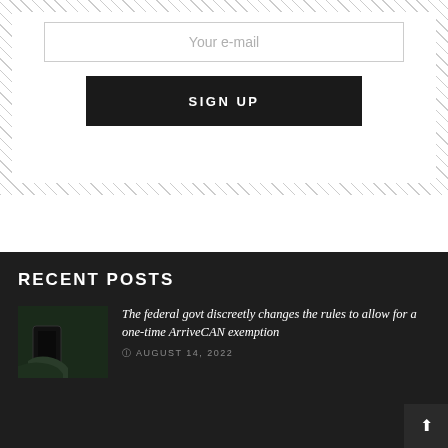[Figure (screenshot): Email input field with placeholder text 'Your e-mail' inside a hatched-border signup form]
SIGN UP
RECENT POSTS
[Figure (photo): Dark photo thumbnail showing a hand holding a phone]
The federal govt discreetly changes the rules to allow for a one-time ArriveCAN exemption
AUGUST 14, 2022